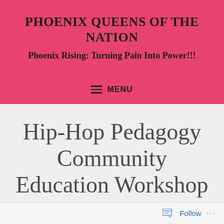PHOENIX QUEENS OF THE NATION
Phoenix Rising: Turning Pain Into Power!!!
≡ MENU
Hip-Hop Pedagogy Community Education Workshop Series...
Follow ...